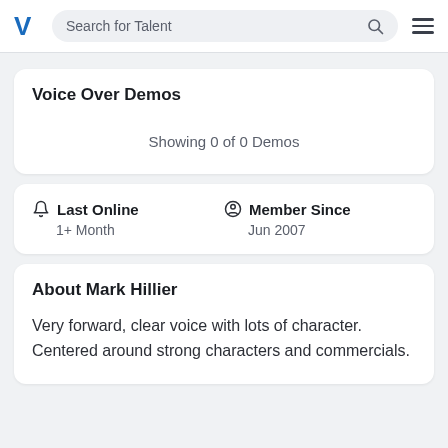Search for Talent
Voice Over Demos
Showing 0 of 0 Demos
Last Online
1+ Month
Member Since
Jun 2007
About Mark Hillier
Very forward, clear voice with lots of character. Centered around strong characters and commercials.